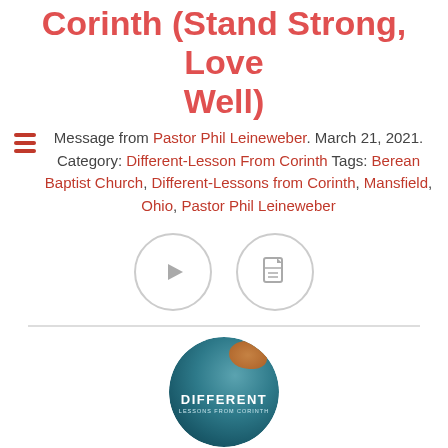Corinth (Stand Strong, Love Well)
Message from Pastor Phil Leineweber. March 21, 2021. Category: Different-Lesson From Corinth Tags: Berean Baptist Church, Different-Lessons from Corinth, Mansfield, Ohio, Pastor Phil Leineweber
[Figure (illustration): Two circular icon buttons: a YouTube play button icon and a PDF document icon, both outlined in light gray circles]
[Figure (logo): Circular series logo for 'Different - Lessons from Corinth' with teal/blue background and orange textured top, white bold text 'DIFFERENT' and subtitle 'LESSONS FROM CORINTH']
Different-Lessons From